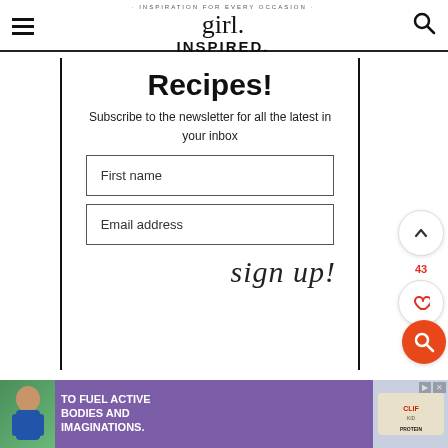girl. INSPIRED. · INSPIRATION FOR EVERY OCCASION
Recipes!
Subscribe to the newsletter for all the latest in your inbox
First name
Email address
sign up!
[Figure (screenshot): Advertisement banner: child holding Clif Kid bar with text 'TO FUEL ACTIVE BODIES AND IMAGINATIONS.' and protein bar imagery on purple background]